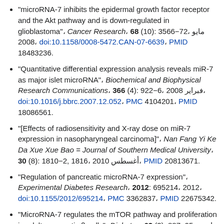"microRNA-7 inhibits the epidermal growth factor receptor and the Akt pathway and is down-regulated in glioblastoma", Cancer Research, 68 (10): 3566–72, مایو 2008، doi:10.1158/0008-5472.CAN-07-6639، PMID 18483236.
"Quantitative differential expression analysis reveals miR-7 as major islet microRNA", Biochemical and Biophysical Research Communications, 366 (4): 922–6, فبرایر 2008، doi:10.1016/j.bbrc.2007.12.052، PMC 4104201، PMID 18086561.
"[Effects of radiosensitivity and X-ray dose on miR-7 expression in nasopharyngeal carcinoma]", Nan Fang Yi Ke Da Xue Xue Bao = Journal of Southern Medical University, 30 (8): 1810–2, 1816، أغسطس 2010، PMID 20813671.
"Regulation of pancreatic microRNA-7 expression", Experimental Diabetes Research, 2012: 695214، 2012، doi:10.1155/2012/695214، PMC 3362837، PMID 22675342.
"MicroRNA-7 regulates the mTOR pathway and proliferation in adult pancreatic β-cells", Diabetes, 62 (3): 887–95، مارس 2013، doi:10.2337/db12-0451، PMC 3581216، PMID 23223022.
"MicroRNA-7 inhibition rescues age-associated loss of...